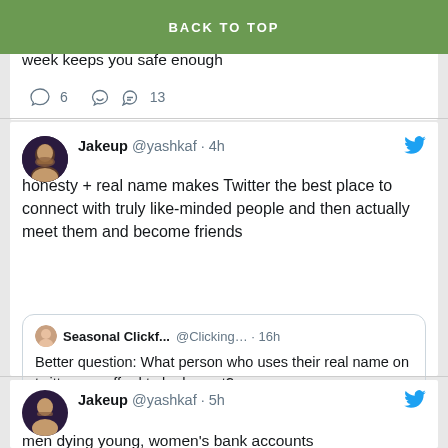a puppy: dumb and distractable: a thin layer of Straussianism and avoiding the 10 no-no words of the week keeps you safe enough
BACK TO TOP
6  13
Jakeup @yashkaf · 4h
honesty + real name makes Twitter the best place to connect with truly like-minded people and then actually meet them and become friends
Seasonal Clickf... @Clicking… · 16h
Better question: What person who uses their real name on twitter can afford to be honest?
Show this thread
4  31
Jakeup @yashkaf · 5h
men dying young, women's bank accounts